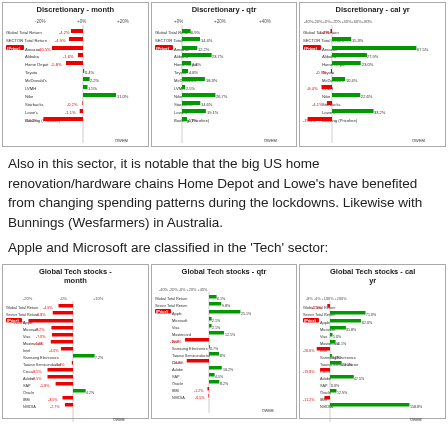[Figure (grouped-bar-chart): Discretionary - month]
[Figure (grouped-bar-chart): Discretionary - qtr]
[Figure (grouped-bar-chart): Discretionary - cal yr]
Also in this sector, it is notable that the big US home renovation/hardware chains Home Depot and Lowe's have benefited from changing spending patterns during the lockdowns. Likewise with Bunnings (Wesfarmers) in Australia.
Apple and Microsoft are classified in the 'Tech' sector:
[Figure (grouped-bar-chart): Global Tech stocks - month]
[Figure (grouped-bar-chart): Global Tech stocks - qtr]
[Figure (grouped-bar-chart): Global Tech stocks - cal yr]